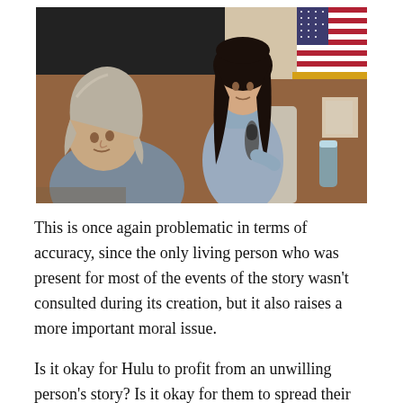[Figure (photo): Two women in what appears to be a courtroom or panel setting. One woman with short gray hair is seated in the foreground facing left. Behind her stands a younger woman with long dark hair holding a microphone, wearing a gray turtleneck sweater. An American flag is visible in the background on the right side, along with wood-paneled walls.]
This is once again problematic in terms of accuracy, since the only living person who was present for most of the events of the story wasn't consulted during its creation, but it also raises a more important moral issue.
Is it okay for Hulu to profit from an unwilling person's story? Is it okay for them to spread their fictionalized